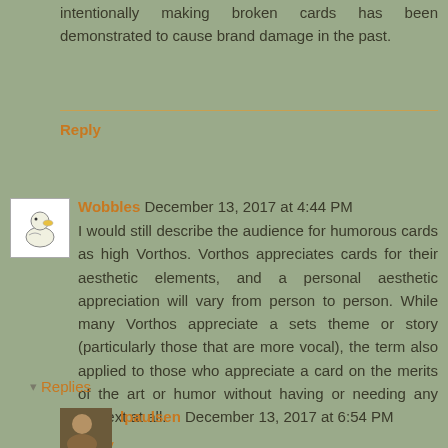intentionally making broken cards has been demonstrated to cause brand damage in the past.
Reply
Wobbles December 13, 2017 at 4:44 PM
I would still describe the audience for humorous cards as high Vorthos. Vorthos appreciates cards for their aesthetic elements, and a personal aesthetic appreciation will vary from person to person. While many Vorthos appreciate a sets theme or story (particularly those that are more vocal), the term also applied to those who appreciate a card on the merits of the art or humor without having or needing any context at all.
Reply
Replies
lpaulsen December 13, 2017 at 6:54 PM